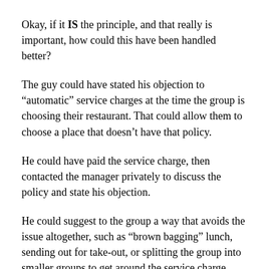Okay, if it IS the principle, and that really is important, how could this have been handled better?
The guy could have stated his objection to “automatic” service charges at the time the group is choosing their restaurant. That could allow them to choose a place that doesn’t have that policy.
He could have paid the service charge, then contacted the manager privately to discuss the policy and state his objection.
He could suggest to the group a way that avoids the issue altogether, such as “brown bagging” lunch, sending out for take-out, or splitting the group into smaller groups to get around the service charge.
But no– he has to make a stink, reducing the waitress to tears, undoubtedly making his co-workers uncomfortable, and probably getting the whole group branded as “high maintenance” at that restaurant in the future.